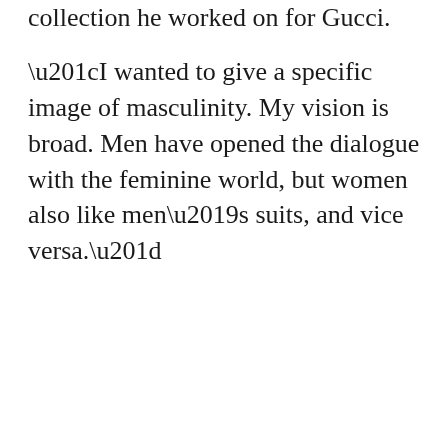collection he worked on for Gucci.
“I wanted to give a specific image of masculinity. My vision is broad. Men have opened the dialogue with the feminine world, but women also like men’s suits, and vice versa.”